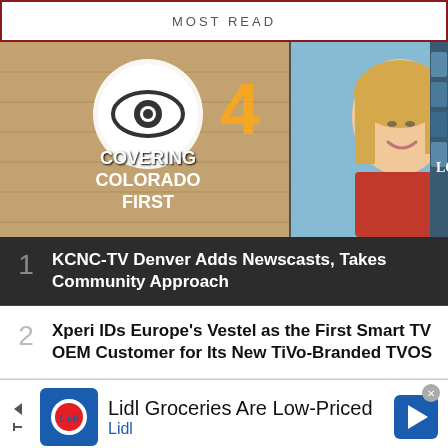MOST READ
[Figure (photo): CBS 4 KCNC-TV Denver studio image showing the CBS eye logo with '4 COVERING COLORADO FIRST' text alongside a blonde female news anchor smiling, with TV screens visible in the background.]
1 KCNC-TV Denver Adds Newscasts, Takes Community Approach
2 Xperi IDs Europe's Vestel as the First Smart TV OEM Customer for Its New TiVo-Branded TVOS
[Figure (advertisement): Lidl advertisement: Lidl Groceries Are Low-Priced. Lidl logo shown with navigation arrows.]